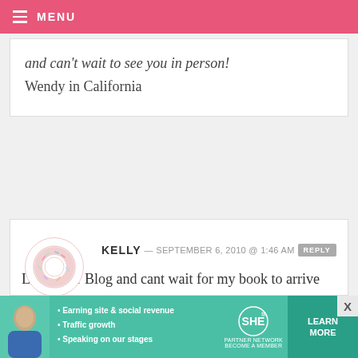MENU
and can't wait to see you in person!
Wendy in California
KELLY — SEPTEMBER 6, 2010 @ 1:46 AM REPLY
Love your Blog and cant wait for my book to arrive Bakerella! Your recipes have inspired my family to do so many treats during the holidays I cant wait!!! Wish you were coming out to Phoenix, Arizona- Hopefully your tour extends so you can come out to Sunny AZ!
[Figure (infographic): SHE Partner Network advertisement banner with bullet points: Earning site & social revenue, Traffic growth, Speaking on our stages. Includes LEARN MORE button.]